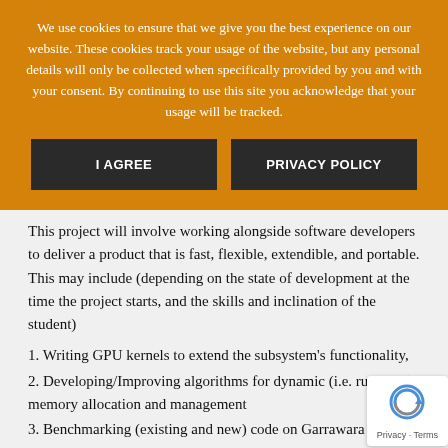We use cookies to ensure that we give you the best experience on our website. These cookies track your usage of the website, but any personal details will only be collected when specifically provided by you and with your consent. By continuing to use this site you acknowledge that your usage will be tracked.
I AGREE
PRIVACY POLICY
This project will involve working alongside software developers to deliver a product that is fast, flexible, extendible, and portable. This may include (depending on the state of development at the time the project starts, and the skills and inclination of the student)
1. Writing GPU kernels to extend the subsystem's functionality,
2. Developing/Improving algorithms for dynamic (i.e. run-time) memory allocation and management
3. Benchmarking (existing and new) code on Garrawarra
4. Building containers (Docker/Singularity) for portabil...
5. Exploring alternative GPU architectures, such as the AMD